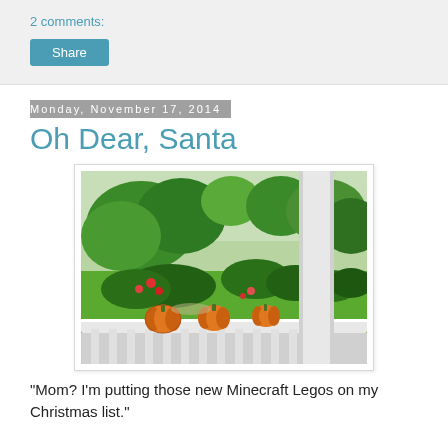2 comments:
Share
Monday, November 17, 2014
Oh Dear, Santa
[Figure (photo): Photo of three small orange pumpkins sitting on a white porch railing, with a green garden and trees visible in the background.]
"Mom? I'm putting those new Minecraft Legos on my Christmas list."